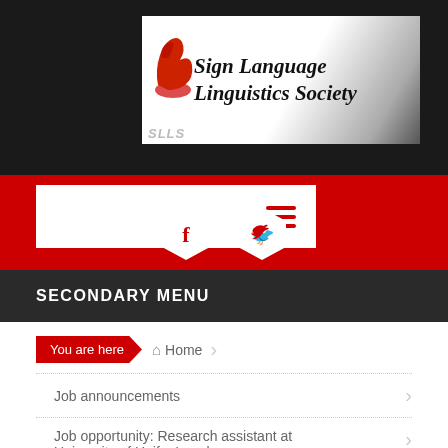[Figure (logo): Sign Language Linguistics Society (SLLS) logo with stylized hand and italic bold text on white-to-grey gradient background]
[Figure (illustration): Red navigation bar with white nav box containing red hamburger menu icon, and two white hexagon social icons (Facebook and Twitter) below]
SECONDARY MENU
You are here   Home   Job announcements   Job opportunity: Research assistant at University of Haifa, Israel
Job opportunity: Research